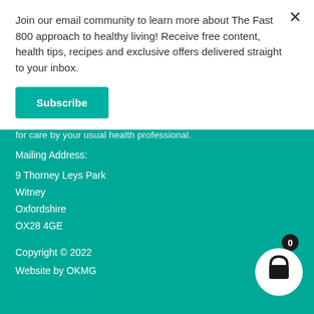Join our email community to learn more about The Fast 800 approach to healthy living! Receive free content, health tips, recipes and exclusive offers delivered straight to your inbox.
Subscribe
for care by your usual health professional.
Mailing Address:
9 Thorney Leys Park
Witney
Oxfordshire
OX28 4GE
Copyright © 2022
Website by OKMG